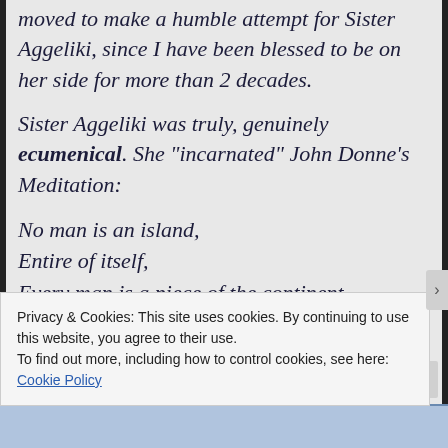moved to make a humble attempt for Sister Aggeliki, since I have been blessed to be on her side for more than 2 decades.
Sister Aggeliki was truly, genuinely ecumenical. She “incarnated” John Donne’s Meditation:
No man is an island,
Entire of itself,
Every man is a piece of the continent,
A part of the main.
If a clod be washed away by the sea,
Privacy & Cookies: This site uses cookies. By continuing to use this website, you agree to their use.
To find out more, including how to control cookies, see here:
Cookie Policy
Close and accept